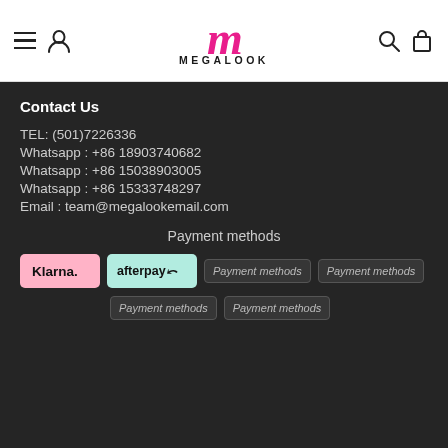MEGALOOK
Contact Us
TEL: (501)7226336
Whatsapp : +86 18903740682
Whatsapp : +86 15038903005
Whatsapp : +86 15333748297
Email : team@megalookemail.com
Payment methods
[Figure (logo): Klarna logo badge (pink background)]
[Figure (logo): Afterpay logo badge (mint/teal background)]
[Figure (logo): Payment methods placeholder image]
[Figure (logo): Payment methods placeholder image]
[Figure (logo): Payment methods placeholder image]
[Figure (logo): Payment methods placeholder image]